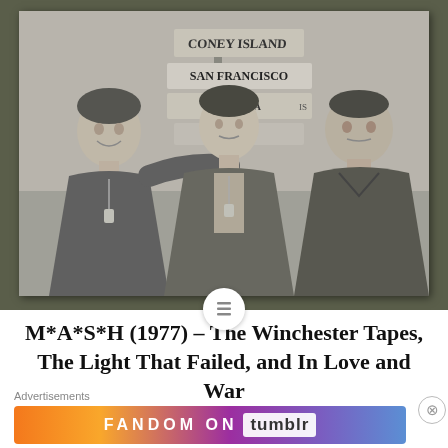[Figure (photo): Black and white photograph of three men standing together in front of a directional signpost. Signs visible include 'San Francisco', 'Coney Island', and 'Indianapolis'. The men are wearing military-style casual clothing. This appears to be a still from the TV show M*A*S*H.]
M*A*S*H (1977) – The Winchester Tapes, The Light That Failed, and In Love and War
Advertisements
[Figure (infographic): Fandom on Tumblr advertisement banner with colorful gradient background (orange, purple, blue) and white bold text reading FANDOM ON tumblr]